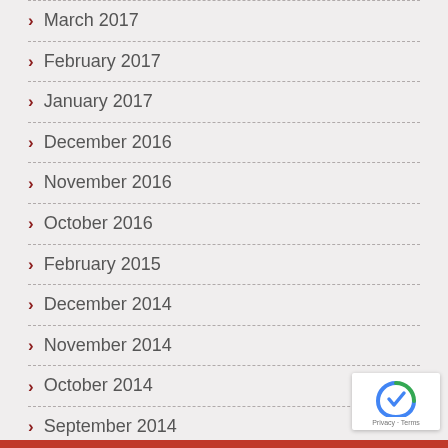March 2017
February 2017
January 2017
December 2016
November 2016
October 2016
February 2015
December 2014
November 2014
October 2014
September 2014
July 2014